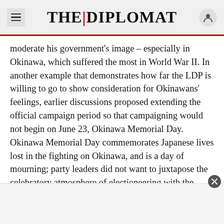THE DIPLOMAT
moderate his government's image – especially in Okinawa, which suffered the most in World War II. In another example that demonstrates how far the LDP is willing to go to show consideration for Okinawans' feelings, earlier discussions proposed extending the official campaign period so that campaigning would not begin on June 23, Okinawa Memorial Day. Okinawa Memorial Day commemorates Japanese lives lost in the fighting on Okinawa, and is a day of mourning; party leaders did not want to juxtapose the celebratory atmosphere of electioneering with the somber mood of Okinawan suffering.